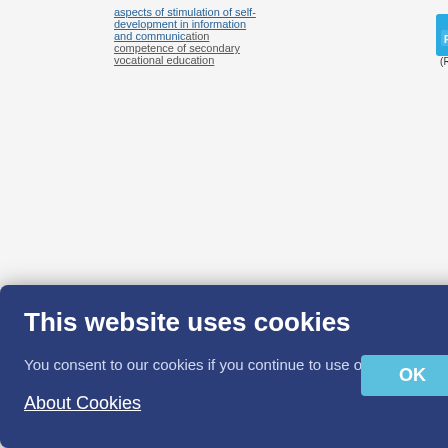| Volume | Title | Authors | PDF |
| --- | --- | --- | --- |
|  | aspects of stimulation of self-development in information and communication competence of secondary vocational education |  | (RUS) |
| Vol 10, No ... | Features of biology education research and organization in schools | Borisenko E.Y., Maksimova E.N., ...akina N.V., Gavrikov D.F. | (RUS) |
| Vol 6, No 1 (2017) | Features of common cultural competenc... | Serper S.A., Buranok O.M. |  |
This website uses cookies
You consent to our cookies if you continue to use our website.
About Cookies
OK